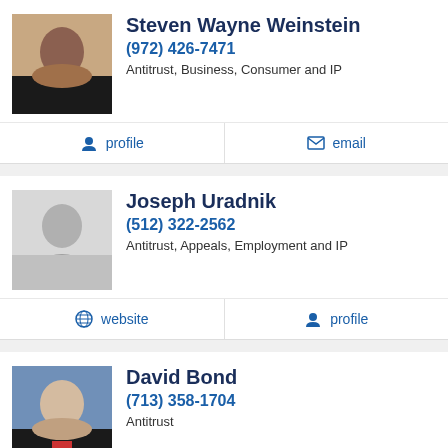[Figure (photo): Headshot photo of Steven Wayne Weinstein]
Steven Wayne Weinstein
(972) 426-7471
Antitrust, Business, Consumer and IP
profile
email
[Figure (photo): Silhouette placeholder for Joseph Uradnik]
Joseph Uradnik
(512) 322-2562
Antitrust, Appeals, Employment and IP
website
profile
[Figure (photo): Headshot photo of David Bond]
David Bond
(713) 358-1704
Antitrust
website
profile